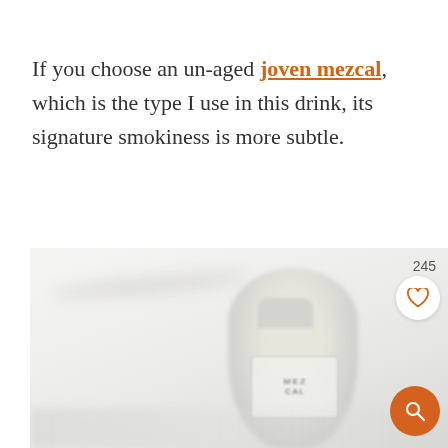If you choose an un-aged joven mezcal, which is the type I use in this drink, its signature smokiness is more subtle.
[Figure (photo): Blurred close-up photo of a mezcal bottle on a white surface, with a save/heart button showing count 245 and an orange search button overlaid in the bottom-right corner.]